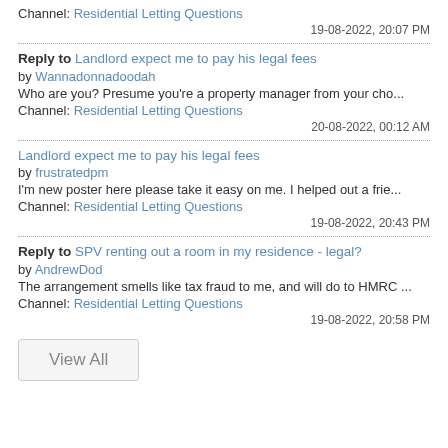Channel: Residential Letting Questions
19-08-2022, 20:07 PM
Reply to Landlord expect me to pay his legal fees
by Wannadonnadoodah
Who are you? Presume you're a property manager from your cho...
Channel: Residential Letting Questions
20-08-2022, 00:12 AM
Landlord expect me to pay his legal fees
by frustratedpm
I'm new poster here please take it easy on me. I helped out a frie...
Channel: Residential Letting Questions
19-08-2022, 20:43 PM
Reply to SPV renting out a room in my residence - legal?
by AndrewDod
The arrangement smells like tax fraud to me, and will do to HMRC ...
Channel: Residential Letting Questions
19-08-2022, 20:58 PM
View All